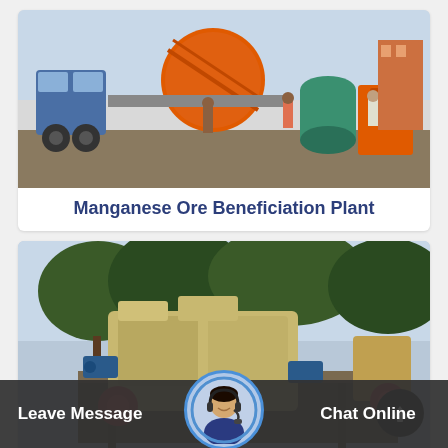[Figure (photo): Mining equipment — a truck with large orange ball mill and spiral classifier machinery being assembled by workers at an industrial site]
Manganese Ore Beneficiation Plant
[Figure (photo): Heavy mining crusher machinery — large beige/yellow jaw crusher equipment on a platform with trees and blue sky in background]
Leave Message   Chat Online